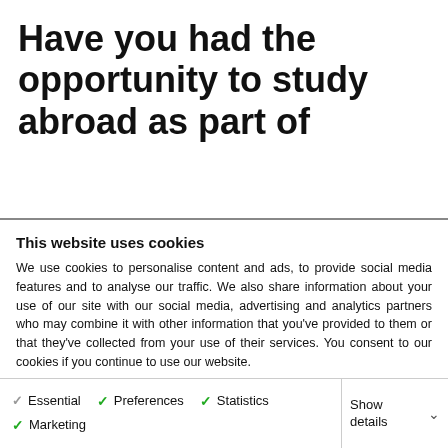Have you had the opportunity to study abroad as part of
This website uses cookies
We use cookies to personalise content and ads, to provide social media features and to analyse our traffic. We also share information about your use of our site with our social media, advertising and analytics partners who may combine it with other information that you've provided to them or that they've collected from your use of their services. You consent to our cookies if you continue to use our website.
Allow all cookies
Allow selected cookies
Only allow essential cookies
Essential  Preferences  Statistics  Marketing  Show details